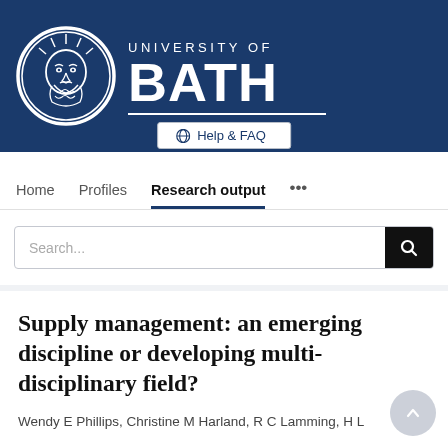[Figure (logo): University of Bath logo: circular medallion with face design on left, 'UNIVERSITY OF BATH' text on right, white on dark navy background]
⊕ Help & FAQ
Home   Profiles   Research output   ...
Search...
Supply management: an emerging discipline or developing multi-disciplinary field?
Wendy E Phillips, Christine M Harland, R C Lamming, H L